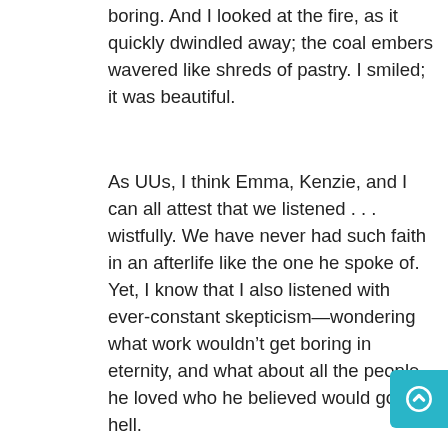boring.  And I looked at the fire, as it quickly dwindled away; the coal embers wavered like shreds of pastry.  I smiled; it was beautiful.
As UUs, I think Emma, Kenzie, and I can all attest that we listened . . . wistfully.  We have never had such faith in an afterlife like the one he spoke of.  Yet, I know that I also listened with ever-constant skepticism—wondering what work wouldn't get boring in eternity, and what about all the people he loved who he believed would go to hell.
But, my point is not that he believes some of us may go to hell, or that heaven would get boring, but that this Heaven he spoke of was beautiful and grounding. When he spoke of heaven, he stared off into the fire with a sense of contentment that I have rarely ever seen on